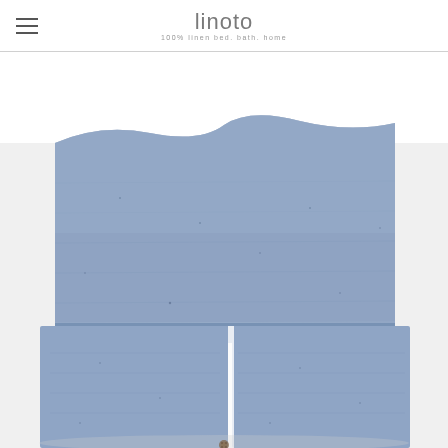linoto — 100% linen bed. bath. home
[Figure (photo): Close-up product photo of a blue/chambray linen duvet cover or pillowcase set, showing a folded linen textile with a large pocket or envelope closure at the bottom, in a light chambray blue color with natural linen texture and slubs visible. The item appears to be photographed from above against a white background.]